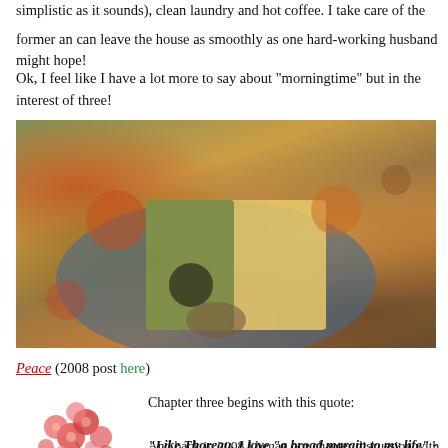simplistic as it sounds), clean laundry and hot coffee. I take care of the former and can leave the house as smoothly as one hard-working husband might hope!
Ok, I feel like I have a lot more to say about "morningtime" but in the interest of three!
[Figure (photo): A child holding an open board book with illustrated animals (squirrel) in an autumn forest scene, sitting on a couch with floral cushions]
Peace (2008 post here)
Chapter three begins with this quote:
[Figure (illustration): Pink and red floral arrangement illustration]
"Like Thoreau, I love "a broad margin to my life" - the less pa
And back in 2008 I began our chapter discussion with the sam